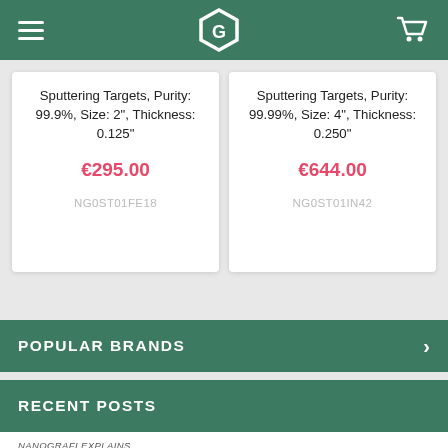Nanografi logo navigation header with hamburger menu and cart icon
Sputtering Targets, Purity: 99.9%, Size: 2", Thickness: 0.125"
€295.00
NG0ST01FE18
Sputtering Targets, Purity: 99.99%, Size: 4", Thickness: 0.250"
€644.00
NG0ST01IN42
POPULAR BRANDS
RECENT POSTS
NANOGRAFI EXPLAINS
Advantages of Silicon Anode Materials for Lithium-Ion Batteries